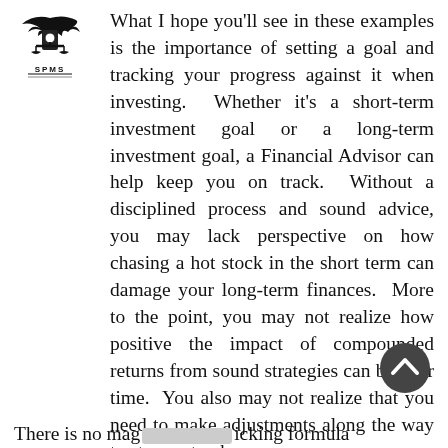[Figure (logo): Eagle/scales emblem logo with text SPMS]
What I hope you'll see in these examples is the importance of setting a goal and tracking your progress against it when investing. Whether it's a short-term investment goal or a long-term investment goal, a Financial Advisor can help keep you on track. Without a disciplined process and sound advice, you may lack perspective on how chasing a hot stock in the short term can damage your long-term finances. More to the point, you may not realize how positive the impact of compounded returns from sound strategies can be over time. You also may not realize that you need to make adjustments along the way to stay on track.
There is no mag                icking formula